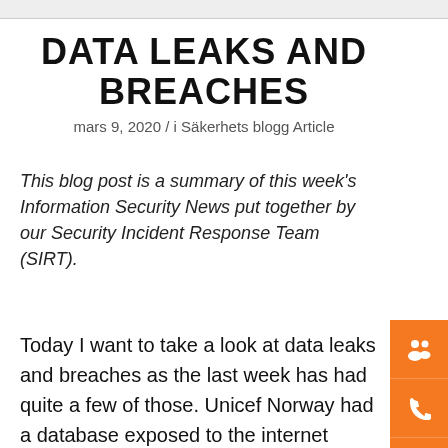DATA LEAKS AND BREACHES
mars 9, 2020 / i Säkerhets blogg Article
This blog post is a summary of this week's Information Security News put together by our Security Incident Response Team (SIRT).
Today I want to take a look at data leaks and breaches as the last week has had quite a few of those. Unicef Norway had a database exposed to the internet (Raywall) without any form of